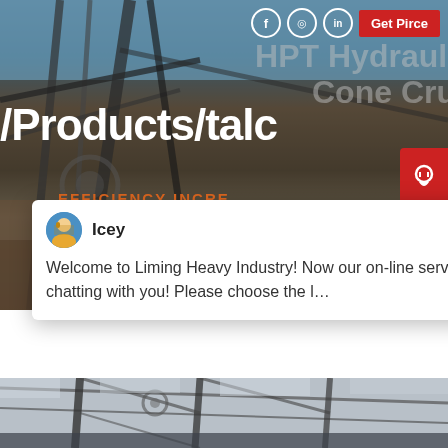[Figure (screenshot): Hero banner showing industrial heavy machinery (cone crusher equipment) with dark overlay. Social media icons (Facebook, Instagram, LinkedIn) and a red 'Get Pirce' button are visible in the top right. Large white text '/Products/talc' overlaid on the image. Orange 'EFFICIENCY INCRE...' text partially visible. A red customer support icon on the right side.]
Get Pirce
/Products/talc
HPT Hydrauli
Cone Cru
EFFICIENCY INCRE
Icey
Welcome to Liming Heavy Industry! Now our on-line service is chatting with you! Please choose the l…
1
[Figure (photo): Bottom partial photo showing interior of industrial building/factory with steel roof trusses and structural elements visible]